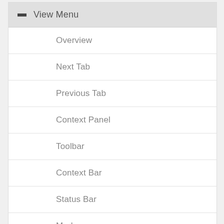View Menu
Overview
Next Tab
Previous Tab
Context Panel
Toolbar
Context Bar
Status Bar
Markers
Task Elements
Atomic Variables